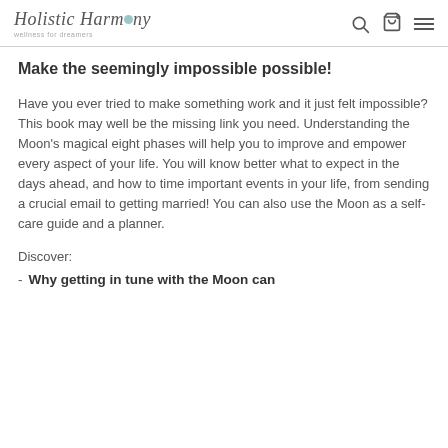Holistic Harmony – wellness for dreamers
Make the seemingly impossible possible!
Have you ever tried to make something work and it just felt impossible?  This book may well be the missing link you need.  Understanding the Moon's magical eight phases will help you to improve and empower every aspect of your life.  You will know better what to expect in the days ahead, and how to time important events in your life, from sending a crucial email to getting married!  You can also use the Moon as a self-care guide and a planner.
Discover:
Why getting in tune with the Moon can